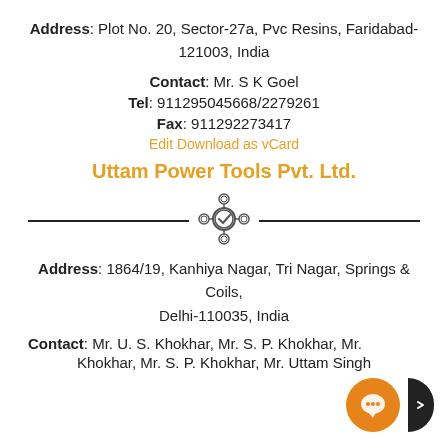Address: Plot No. 20, Sector-27a, Pvc Resins, Faridabad-121003, India
Contact: Mr. S K Goel
Tel: 911295045668/2279261
Fax: 911292273417
Edit Download as vCard
Uttam Power Tools Pvt. Ltd.
[Figure (illustration): Decorative horizontal divider with a gear/network icon in the center]
Address: 1864/19, Kanhiya Nagar, Tri Nagar, Springs & Coils, Delhi-110035, India
Contact: Mr. U. S. Khokhar, Mr. S. P. Khokhar, Mr. Khokhar, Mr. S. P. Khokhar, Mr. Uttam Singh